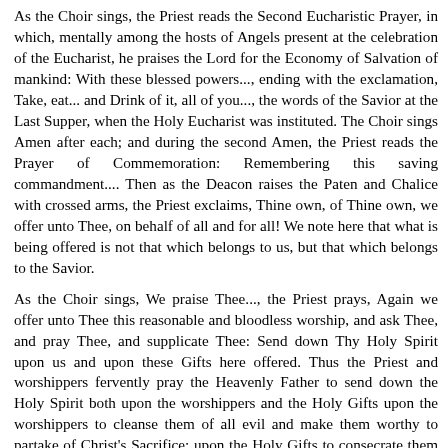As the Choir sings, the Priest reads the Second Eucharistic Prayer, in which, mentally among the hosts of Angels present at the celebration of the Eucharist, he praises the Lord for the Economy of Salvation of mankind: With these blessed powers..., ending with the exclamation, Take, eat... and Drink of it, all of you..., the words of the Savior at the Last Supper, when the Holy Eucharist was instituted. The Choir sings Amen after each; and during the second Amen, the Priest reads the Prayer of Commemoration: Remembering this saving commandment.... Then as the Deacon raises the Paten and Chalice with crossed arms, the Priest exclaims, Thine own, of Thine own, we offer unto Thee, on behalf of all and for all! We note here that what is being offered is not that which belongs to us, but that which belongs to the Savior.
As the Choir sings, We praise Thee..., the Priest prays, Again we offer unto Thee this reasonable and bloodless worship, and ask Thee, and pray Thee, and supplicate Thee: Send down Thy Holy Spirit upon us and upon these Gifts here offered. Thus the Priest and worshippers fervently pray the Heavenly Father to send down the Holy Spirit both upon the worshippers and the Holy Gifts upon the worshippers to cleanse them of all evil and make them worthy to partake of Christ's Sacrifice; upon the Holy Gifts to consecrate them and make them into the precious Body and Blood of Our Lord.
This invocation of the Holy Spirit is called the Epiclesis (meaning invocation). It is the Theophany of our day, if this is the most if...